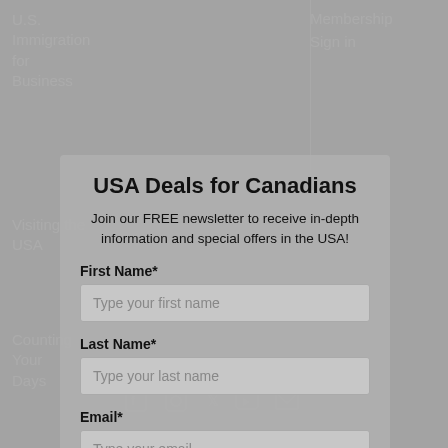U.S. Immigration for Business
Membership Sign in
Visiting the USA
Counting Your Days
USA Deals for Canadians
Join our FREE newsletter to receive in-depth information and special offers in the USA!
First Name*
Type your first name
Last Name*
Type your last name
Email*
Type your email
Submit